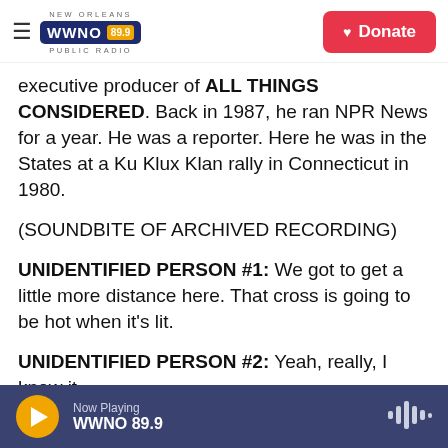NEW ORLEANS WWNO 89.9 PUBLIC RADIO | Donate
executive producer of ALL THINGS CONSIDERED. Back in 1987, he ran NPR News for a year. He was a reporter. Here he was in the States at a Ku Klux Klan rally in Connecticut in 1980.
(SOUNDBITE OF ARCHIVED RECORDING)
UNIDENTIFIED PERSON #1: We got to get a little more distance here. That cross is going to be hot when it's lit.
UNIDENTIFIED PERSON #2: Yeah, really, I know it.
CONAN: Robed and hooded Klansmen stood in a
Now Playing WWNO 89.9